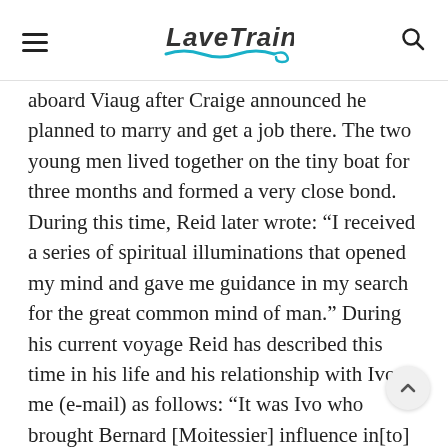WAVETRAIN
aboard Viaug after Craige announced he planned to marry and get a job there. The two young men lived together on the tiny boat for three months and formed a very close bond. During this time, Reid later wrote: “I received a series of spiritual illuminations that opened my mind and gave me guidance in my search for the great common mind of man.” During his current voyage Reid has described this time in his life and his relationship with Ivo to me (e-mail) as follows: “It was Ivo who brought Bernard [Moitessier] influence in[to] my life. I